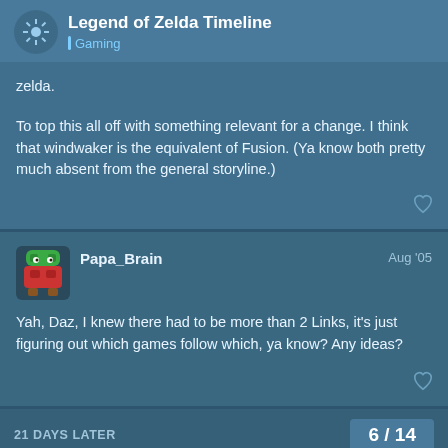Legend of Zelda Timeline | Gaming
zelda.
To top this all off with something relevant for a change. I think that windwaker is the equivalent of Fusion. (Ya know both pretty much absent from the general storyline.)
Papa_Brain | Aug '05
Yah, Daz, I knew there had to be more than 2 Links, it's just figuring out which games follow which, ya know? Any ideas?
21 DAYS LATER
6 / 14